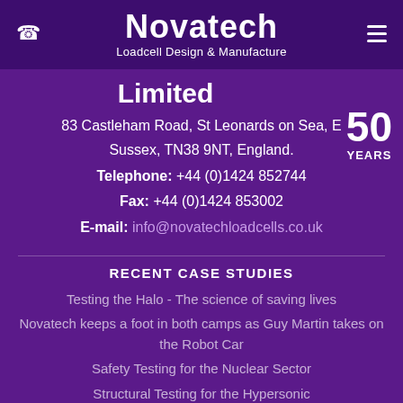Novatech Loadcell Design & Manufacture
Limited
50 YEARS
83 Castleham Road, St Leonards on Sea, E Sussex, TN38 9NT, England.
Telephone: +44 (0)1424 852744
Fax: +44 (0)1424 853002
E-mail: info@novatechloadcells.co.uk
RECENT CASE STUDIES
Testing the Halo - The science of saving lives
Novatech keeps a foot in both camps as Guy Martin takes on the Robot Car
Safety Testing for the Nuclear Sector
Structural Testing for the Hypersonic